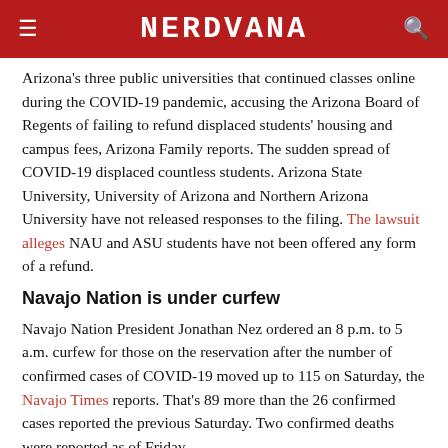NERDVANA
Arizona's three public universities that continued classes online during the COVID-19 pandemic, accusing the Arizona Board of Regents of failing to refund displaced students' housing and campus fees, Arizona Family reports. The sudden spread of COVID-19 displaced countless students. Arizona State University, University of Arizona and Northern Arizona University have not released responses to the filing. The lawsuit alleges NAU and ASU students have not been offered any form of a refund.
Navajo Nation is under curfew
Navajo Nation President Jonathan Nez ordered an 8 p.m. to 5 a.m. curfew for those on the reservation after the number of confirmed cases of COVID-19 moved up to 115 on Saturday, the Navajo Times reports. That's 89 more than the 26 confirmed cases reported the previous Saturday. Two confirmed deaths were reported as of Friday.